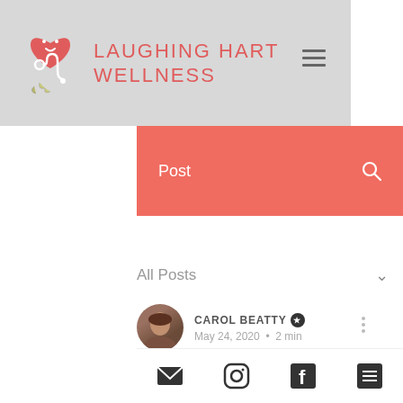LAUGHING HART WELLNESS
Post
All Posts
CAROL BEATTY · May 24, 2020 · 2 min
Wake-Up Call
Updated: Jul 30, 2020
Week 7 of staying my ass at home and I've gotta say I'm finally at peace with it. And now that I've found...
Email, Instagram, Facebook, List icons